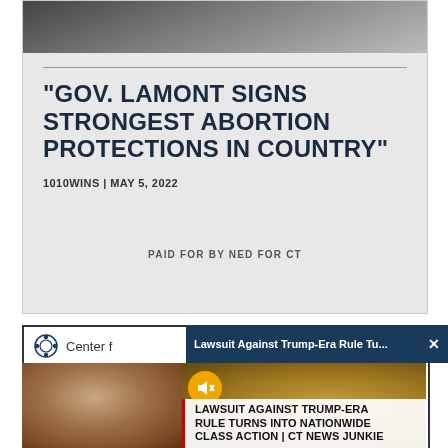[Figure (screenshot): News article card with headline: Gov. Lamont signs strongest abortion protections in country, from 1010WINS, May 5, 2022. Paid for by Ned for CT.]
"GOV. LAMONT SIGNS STRONGEST ABORTION PROTECTIONS IN COUNTRY"
1010WINS | MAY 5, 2022
PAID FOR BY NED FOR CT
[Figure (screenshot): Screenshot showing Center for... logo bar and a notification popup: Lawsuit Against Trump-Era Rule Tu... with a close X button. Below, two photos side by side: child on left, scales of justice on right. Overlay text: LAWSUIT AGAINST TRUMP-ERA RULE TURNS INTO NATIONWIDE CLASS ACTION | CT NEWS JUNKIE]